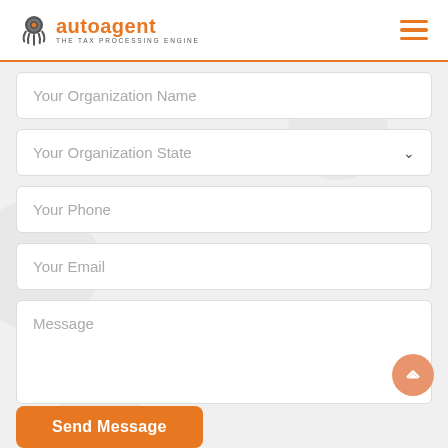[Figure (logo): Autoagent logo with octopus icon and text 'autoagent THE TAX PROCESSING ENGINE']
Your Organization Name
Your Organization State
Your Phone
Your Email
Message
Send Message